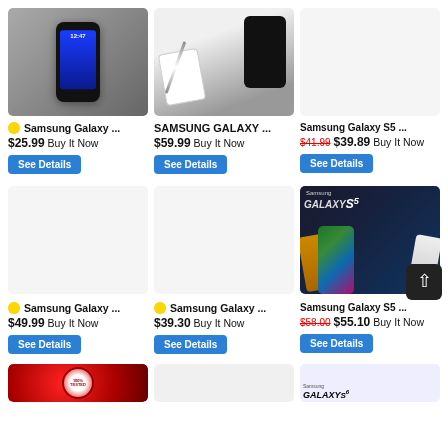[Figure (photo): Samsung Galaxy smartphone product photo on gray background]
⭐ Samsung Galaxy ...
$25.99 Buy It Now
See Details
[Figure (photo): Samsung Galaxy smartphone with charger cable on white background]
SAMSUNG GALAXY ...
$59.99 Buy It Now
See Details
[Figure (photo): Placeholder/empty product area]
Samsung Galaxy S5 ...
$41.99 $39.89 Buy It Now
See Details
[Figure (photo): Samsung Galaxy smartphone placeholder]
⭐ Samsung Galaxy ...
$49.99 Buy It Now
See Details
[Figure (photo): Samsung Galaxy smartphone placeholder]
⭐ Samsung Galaxy ...
$39.30 Buy It Now
See Details
[Figure (photo): Samsung Galaxy S5 promotional collage showing multiple phones in different colors]
Samsung Galaxy S5 ...
$58.00 $55.10 Buy It Now
See Details
[Figure (photo): Bottom partial product images: circular satisfaction badge, Samsung Galaxy S6 promo image]